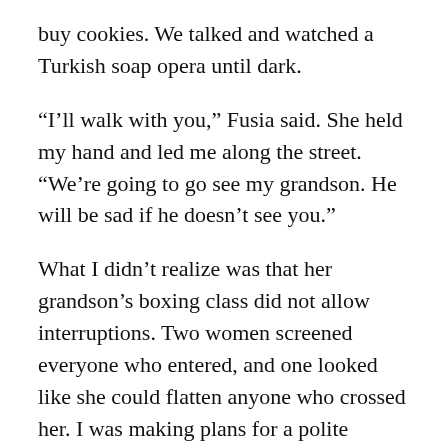buy cookies. We talked and watched a Turkish soap opera until dark.
“I’ll walk with you,” Fusia said. She held my hand and led me along the street. “We’re going to go see my grandson. He will be sad if he doesn’t see you.”
What I didn’t realize was that her grandson’s boxing class did not allow interruptions. Two women screened everyone who entered, and one looked like she could flatten anyone who crossed her. I was making plans for a polite retreat when Fusia asked if her friend all of the way from Spain could just greet dear little Ali.
“Of course! Come with me!”
And so I interrupted the boxing class, a whole room full of gawking children and their annoyed